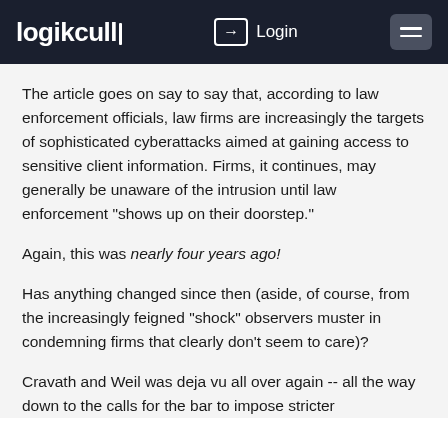logikcull  Login
The article goes on say to say that, according to law enforcement officials, law firms are increasingly the targets of sophisticated cyberattacks aimed at gaining access to sensitive client information. Firms, it continues, may generally be unaware of the intrusion until law enforcement "shows up on their doorstep."
Again, this was nearly four years ago!
Has anything changed since then (aside, of course, from the increasingly feigned "shock" observers muster in condemning firms that clearly don't seem to care)?
Cravath and Weil was deja vu all over again -- all the way down to the calls for the bar to impose stricter